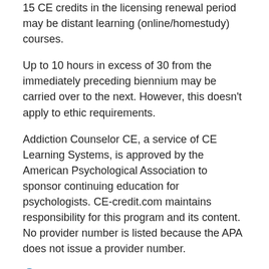15 CE credits in the licensing renewal period may be distant learning (online/homestudy) courses.
Up to 10 hours in excess of 30 from the immediately preceding biennium may be carried over to the next. However, this doesn’t apply to ethic requirements.
Addiction Counselor CE, a service of CE Learning Systems, is approved by the American Psychological Association to sponsor continuing education for psychologists. CE-credit.com maintains responsibility for this program and its content. No provider number is listed because the APA does not issue a provider number.
Board Contact Info